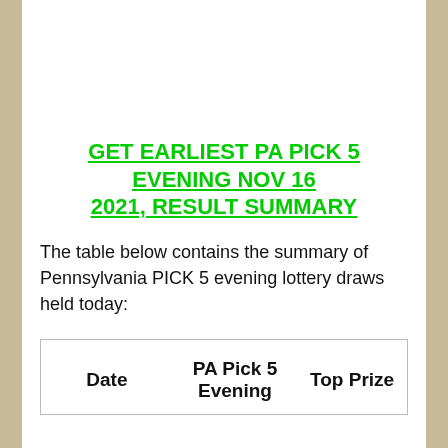GET EARLIEST PA PICK 5 EVENING NOV 16 2021, RESULT SUMMARY
The table below contains the summary of Pennsylvania PICK 5 evening lottery draws held today:
| Date | PA Pick 5 Evening | Top Prize |
| --- | --- | --- |